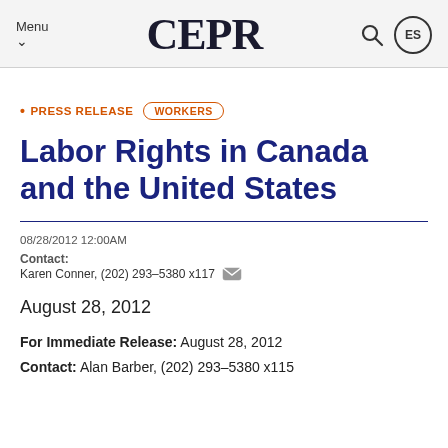Menu  CEPR  ES
• PRESS RELEASE  WORKERS
Labor Rights in Canada and the United States
08/28/2012 12:00AM
Contact: Karen Conner, (202) 293-5380 x117
August 28, 2012
For Immediate Release: August 28, 2012
Contact: Alan Barber, (202) 293-5380 x115